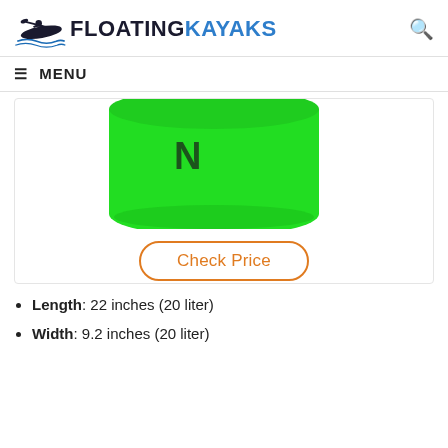FLOATINGKAYAKS
≡ MENU
[Figure (photo): Green dry bag / waterproof bag with black handle strap, shown from a close-up bottom angle on white background]
Check Price
Length: 22 inches (20 liter)
Width: 9.2 inches (20 liter)